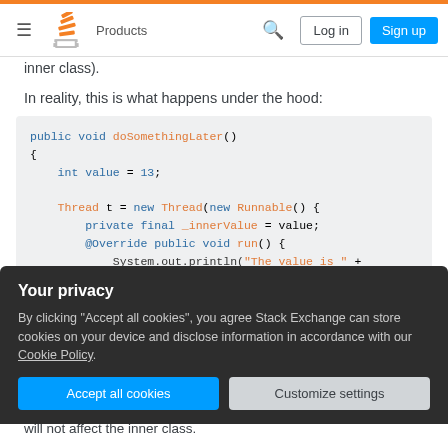≡  [Stack Overflow logo]  Products  🔍  Log in  Sign up
inner class).
In reality, this is what happens under the hood:
public void doSomethingLater()
{
    int value = 13;

    Thread t = new Thread(new Runnable() {
        private final _innerValue = value;
        @Override public void run() {
            System.out.println("The value is " +
        }
    });
Your privacy
By clicking "Accept all cookies", you agree Stack Exchange can store cookies on your device and disclose information in accordance with our Cookie Policy.
will not affect the inner class.